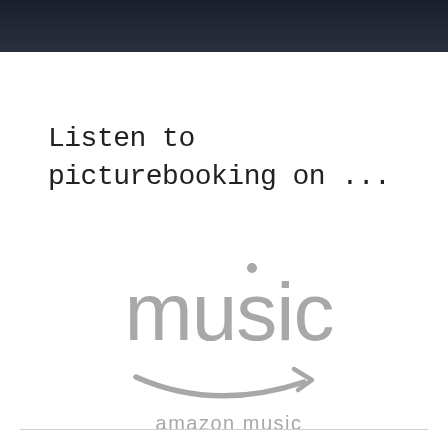Listen to picturebooking on ...
[Figure (logo): Amazon Music logo with large grey 'music' text, a curved smile/arrow beneath it, and 'amazon music' text below]